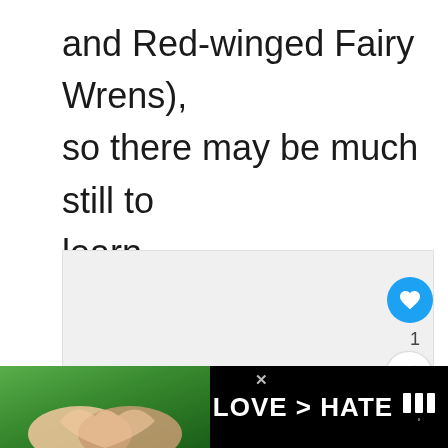and Red-winged Fairy Wrens), so there may be much still to learn.
[Figure (other): Embedded media/video player area with light gray background. Contains social interaction buttons: a blue heart/like button, a like count of 1, and a share button. A 'WHAT'S NEXT' panel shows a thumbnail of a bird with text 'Birds of Paradise: Th...']
[Figure (other): Advertisement banner with black background. Left portion shows hands forming a heart shape against a green nature background. Center text reads 'LOVE > HATE' in large white bold letters. Right side shows a logo/watermark. An X close button is visible.]